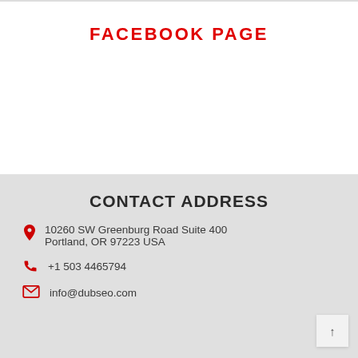FACEBOOK PAGE
CONTACT ADDRESS
10260 SW Greenburg Road Suite 400 Portland, OR 97223 USA
+1 503 4465794
info@dubseo.com